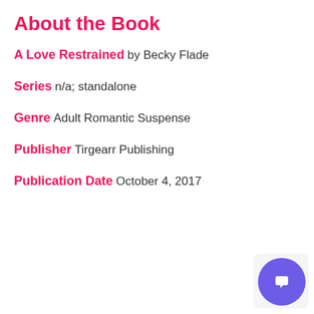About the Book
A Love Restrained
by Becky Flade
Series
n/a; standalone
Genre
Adult
Romantic Suspense
Publisher
Tirgearr Publishing
Publication Date
October 4, 2017